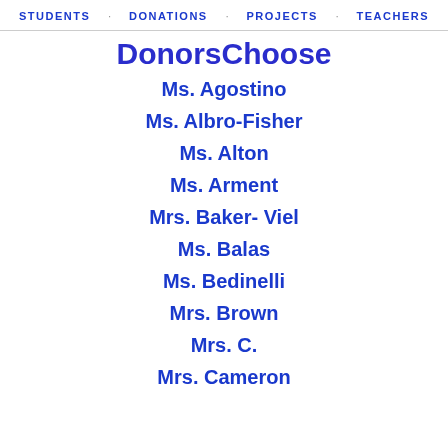STUDENTS · DONATIONS · PROJECTS · TEACHERS
DonorsChoose
Ms. Agostino
Ms. Albro-Fisher
Ms. Alton
Ms. Arment
Mrs. Baker- Viel
Ms. Balas
Ms. Bedinelli
Mrs. Brown
Mrs. C.
Mrs. Cameron